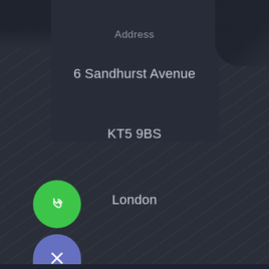[Figure (screenshot): Mobile app screenshot showing a contact address card on a dark background with diagonal texture. The card shows: Address label, 6 Sandhurst Avenue, KT5 9BS, London. Three circular action buttons on the left: green phone call button, green WhatsApp button, and purple/blue close (X) button.]
Address
6 Sandhurst Avenue
KT5 9BS
London